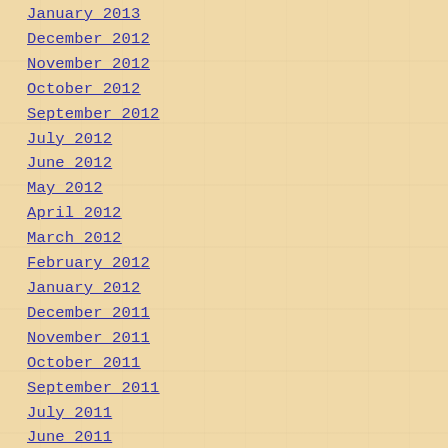January 2013
December 2012
November 2012
October 2012
September 2012
July 2012
June 2012
May 2012
April 2012
March 2012
February 2012
January 2012
December 2011
November 2011
October 2011
September 2011
July 2011
June 2011